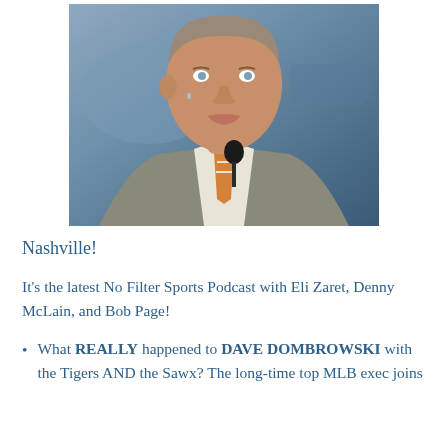[Figure (photo): A middle-aged man in a gray pinstripe suit with an orange and white striped tie, appearing emotional or making a face, with a microphone in front of him and a blue background]
Nashville!
It's the latest No Filter Sports Podcast with Eli Zaret, Denny McLain, and Bob Page!
What REALLY happened to DAVE DOMBROWSKI with the Tigers AND the Sawx? The long-time top MLB exec joins